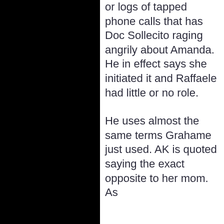or logs of tapped phone calls that has Doc Sollecito raging angrily about Amanda. He in effect says she initiated it and Raffaele had little or no role.
He uses almost the same terms Grahame just used. AK is quoted saying the exact opposite to her mom. As